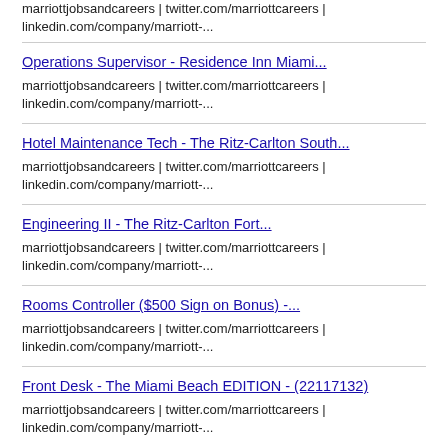marriottjobsandcareers | twitter.com/marriottcareers | linkedin.com/company/marriott-...
Operations Supervisor - Residence Inn Miami...
marriottjobsandcareers | twitter.com/marriottcareers | linkedin.com/company/marriott-...
Hotel Maintenance Tech - The Ritz-Carlton South...
marriottjobsandcareers | twitter.com/marriottcareers | linkedin.com/company/marriott-...
Engineering II - The Ritz-Carlton Fort...
marriottjobsandcareers | twitter.com/marriottcareers | linkedin.com/company/marriott-...
Rooms Controller ($500 Sign on Bonus) -...
marriottjobsandcareers | twitter.com/marriottcareers | linkedin.com/company/marriott-...
Front Desk - The Miami Beach EDITION - (22117132)
marriottjobsandcareers | twitter.com/marriottcareers | linkedin.com/company/marriott-...